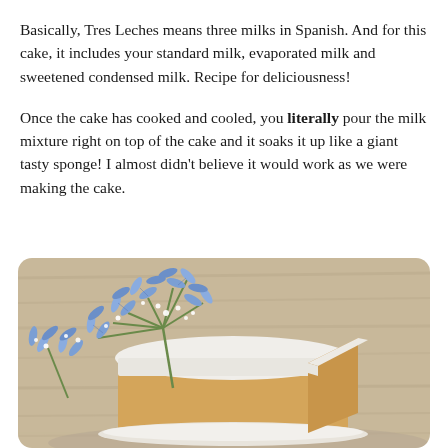Basically, Tres Leches means three milks in Spanish. And for this cake, it includes your standard milk, evaporated milk and sweetened condensed milk. Recipe for deliciousness!
Once the cake has cooked and cooled, you literally pour the milk mixture right on top of the cake and it soaks it up like a giant tasty sponge! I almost didn't believe it would work as we were making the cake.
[Figure (photo): A white-frosted Tres Leches cake decorated with blue agapanthus flowers and small white baby's breath flowers, with a slice cut to reveal the golden sponge interior, placed on a wooden surface.]